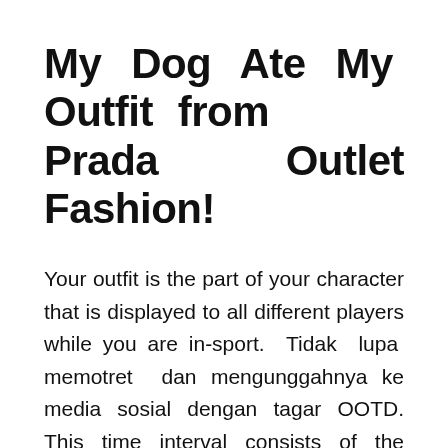My Dog Ate My Outfit from Prada Outlet Fashion!
Your outfit is the part of your character that is displayed to all different players while you are in-sport. Tidak lupa memotret dan mengunggahnya ke media sosial dengan tagar OOTD. This time interval consists of the transit time for us to receive your return from the shipper (5 to 10 business days), the time it takes us to process your return as soon as we receive it (three to 5 enterprise days), and the time it takes your monetary institution to process our refund request (5 to 10 business